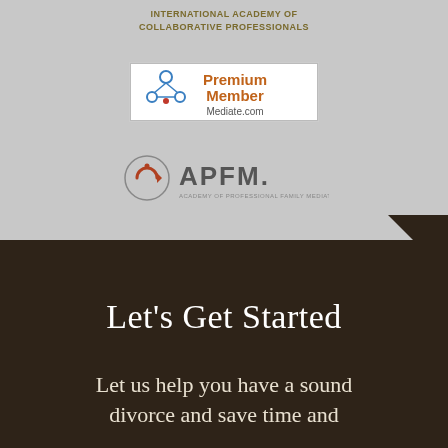[Figure (logo): International Academy of Collaborative Professionals text logo in gold/brown]
[Figure (logo): Premium Member Mediate.com badge with circular logo on white background with border]
[Figure (logo): APFM Academy of Professional Family Mediators logo with circular icon]
Let's Get Started
Let us help you have a sound divorce and save time and